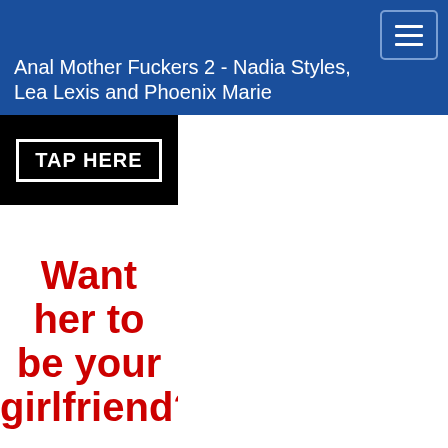Anal Mother Fuckers 2 - Nadia Styles, Lea Lexis and Phoenix Marie
[Figure (other): Navigation hamburger menu button (three horizontal white lines on dark blue background)]
[Figure (other): Advertisement panel with black background 'TAP HERE' button in white bordered rectangle, followed by red bold text on white background reading 'Want her to be your girlfriend?']